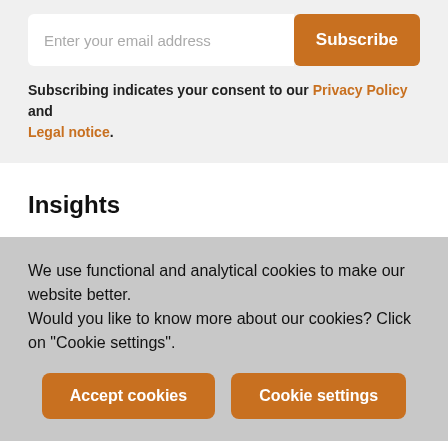Enter your email address
Subscribe
Subscribing indicates your consent to our Privacy Policy and Legal notice.
Insights
We use functional and analytical cookies to make our website better.
Would you like to know more about our cookies? Click on "Cookie settings".
Accept cookies
Cookie settings